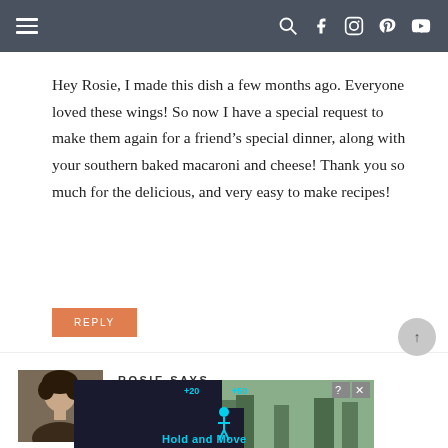Navigation bar with menu and social icons
Hey Rosie, I made this dish a few months ago. Everyone loved these wings! So now I have a special request to make them again for a friend's special dinner, along with your southern baked macaroni and cheese! Thank you so much for the delicious, and very easy to make recipes!
REPLY
ROSIE SAYS
JULY 11, 2015 AT 12:34 AM
[Figure (photo): Profile photo of Rosie, a woman with curly hair]
[Figure (screenshot): Advertisement banner for Hold and Move app with dark background and trees]